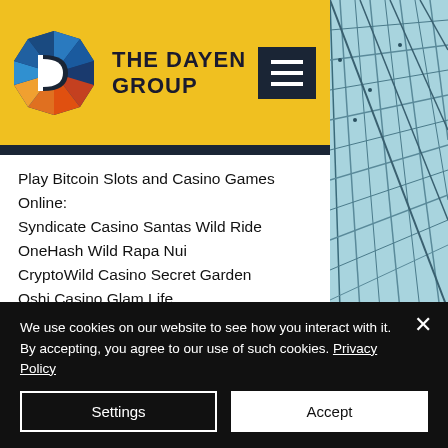THE DAYEN GROUP
[Figure (logo): The Dayen Group logo — a diamond shape with D letter and colorful facets in blue, orange, red gradient]
Play Bitcoin Slots and Casino Games Online:
Syndicate Casino Santas Wild Ride
OneHash Wild Rapa Nui
CryptoWild Casino Secret Garden
Oshi Casino Glam Life
1xBit Casino Octoberfest
mBit Casino Blazin' Buffalo
Sportsbet.io Hercules Son of Zeus
OneHash Island 2
[Figure (photo): Glass architecture ceiling/wall with steel grid structure, blue-tinted glass panels]
We use cookies on our website to see how you interact with it. By accepting, you agree to our use of such cookies. Privacy Policy
Settings
Accept